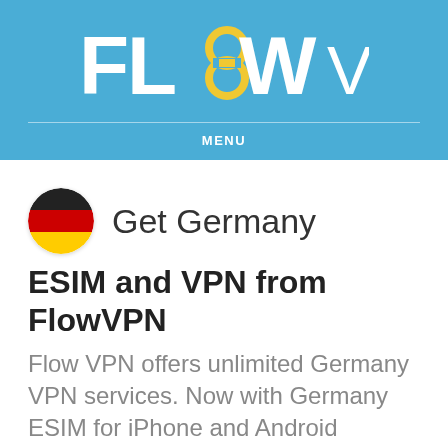[Figure (logo): FlowVPN logo with infinity/8 symbol in yellow and white text on blue background]
MENU
[Figure (illustration): German flag circle icon]
Get Germany
ESIM and VPN from FlowVPN
Flow VPN offers unlimited Germany VPN services. Now with Germany ESIM for iPhone and Android phones.